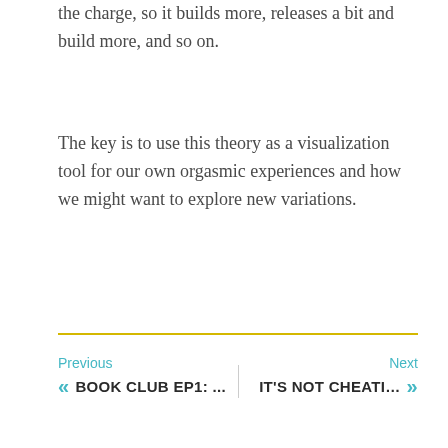the charge, so it builds more, releases a bit and build more, and so on.
The key is to use this theory as a visualization tool for our own orgasmic experiences and how we might want to explore new variations.
Previous | BOOK CLUB EP1: ... | Next | IT'S NOT CHEATI...